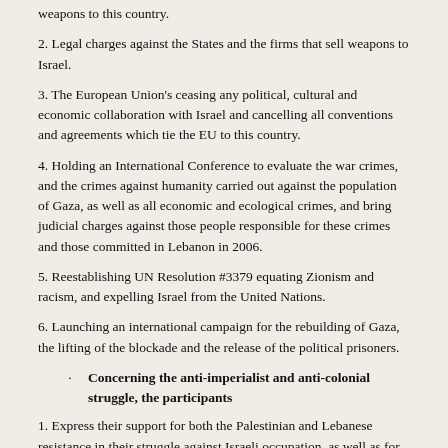weapons to this country.
2. Legal charges against the States and the firms that sell weapons to Israel.
3. The European Union’s ceasing any political, cultural and economic collaboration with Israel and cancelling all conventions and agreements which tie the EU to this country.
4. Holding an International Conference to evaluate the war crimes, and the crimes against humanity carried out against the population of Gaza, as well as all economic and ecological crimes, and bring judicial charges against those people responsible for these crimes and those committed in Lebanon in 2006.
5. Reestablishing UN Resolution #3379 equating Zionism and racism, and expelling Israel from the United Nations.
6. Launching an international campaign for the rebuilding of Gaza, the lifting of the blockade and the release of the political prisoners.
Concerning the anti-imperialist and anti-colonial struggle, the participants
1. Express their support for both the Palestinian and Lebanese resistance in their struggle against Israeli occupation, as well as for the Iraqi resistance that combats the U.S. occupation. Moreover, the participants support the efforts of the Iraqi people to preserve their territorial unity.